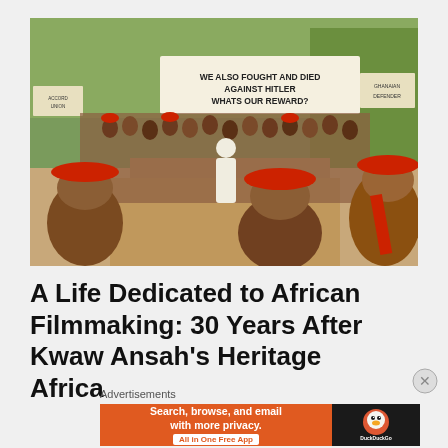[Figure (photo): A film scene showing a group of people, some wearing red fez hats and military/traditional attire, standing near steps. A banner in the background reads 'WE ALSO FOUGHT AND DIED AGAINST HITLER WHATS OUR REWARD?' with additional signs visible. A person in white colonial dress stands at center. Lush trees in background.]
A Life Dedicated to African Filmmaking: 30 Years After Kwaw Ansah's Heritage Africa
Advertisements
[Figure (other): DuckDuckGo advertisement banner with orange background. Left side reads 'Search, browse, and email with more privacy. All in One Free App'. Right side shows DuckDuckGo logo (duck icon) on dark background.]